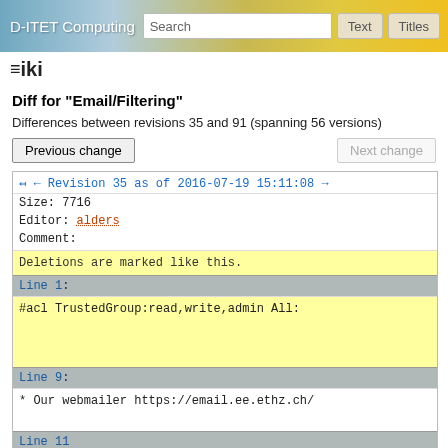D-ITET Computing | Search | Text | Titles
Wiki
Diff for "Email/Filtering"
Differences between revisions 35 and 91 (spanning 56 versions)
Previous change | Next change
← ← Revision 35 as of 2016-07-19 15:11:08 →
Size: 7716
Editor: alders
Comment:
Deletions are marked like this.
Line 1:
#acl TrustedGroup:read,write,admin All:
Line 9:
* Our webmailer https://email.ee.ethz.ch/
Line 11